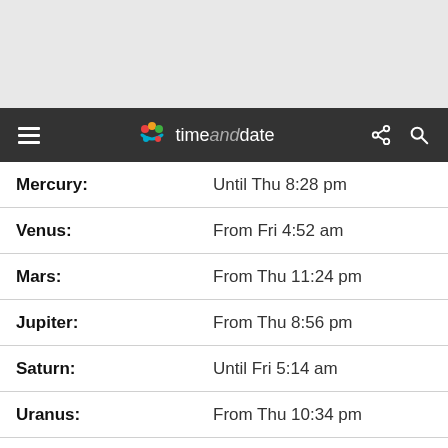[Figure (screenshot): Gray advertisement/banner placeholder area at top of page]
timeanddate navigation bar with hamburger menu, timeanddate logo, share and search icons
| Planet | Visibility |
| --- | --- |
| Mercury: | Until Thu 8:28 pm |
| Venus: | From Fri 4:52 am |
| Mars: | From Thu 11:24 pm |
| Jupiter: | From Thu 8:56 pm |
| Saturn: | Until Fri 5:14 am |
| Uranus: | From Thu 10:34 pm |
| Neptune: | From Thu 8:25 pm |
[Figure (photo): Night sky star map showing constellation Ursa Minor with dashed connecting lines on black background]